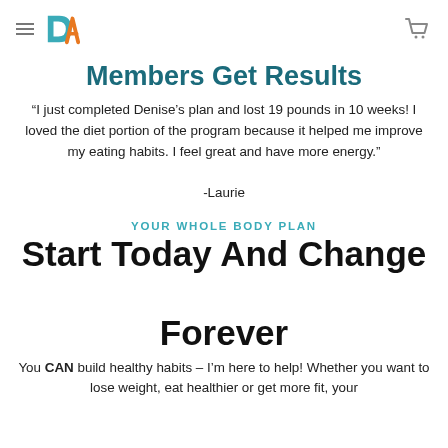DA [logo] [hamburger menu] [cart icon]
Members Get Results
“I just completed Denise’s plan and lost 19 pounds in 10 weeks! I loved the diet portion of the program because it helped me improve my eating habits. I feel great and have more energy.”

-Laurie
YOUR WHOLE BODY PLAN
Start Today And Change Forever
You CAN build healthy habits – I’m here to help! Whether you want to lose weight, eat healthier or get more fit, your